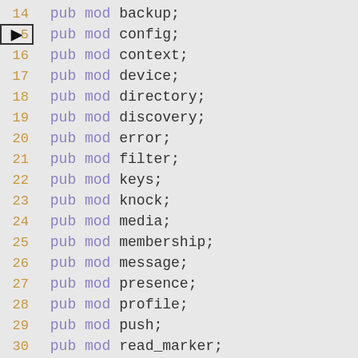14  pub mod backup;
15  pub mod config;
16  pub mod context;
17  pub mod device;
18  pub mod directory;
19  pub mod discovery;
20  pub mod error;
21  pub mod filter;
22  pub mod keys;
23  pub mod knock;
24  pub mod media;
25  pub mod membership;
26  pub mod message;
27  pub mod presence;
28  pub mod profile;
29  pub mod push;
30  pub mod read_marker;
31  pub mod receipt;
32  pub mod redact;